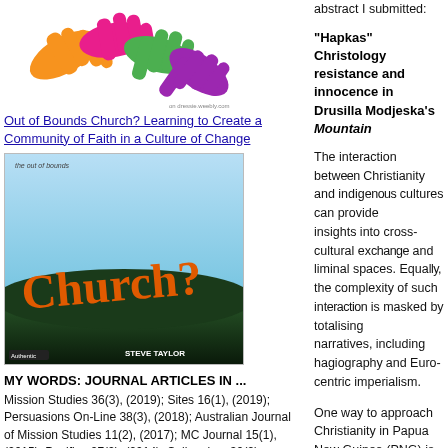[Figure (illustration): Colorful overlapping hands illustration in orange, pink, green, purple colors on white background]
Out of Bounds Church? Learning to Create a Community of Faith in a Culture of Change
[Figure (photo): Book cover: 'The out of bounds Church?' by Steve Taylor. Shows sky and dark landscape with orange 'Church?' text.]
MY WORDS: JOURNAL ARTICLES IN ...
Mission Studies 36(3), (2019); Sites 16(1), (2019); Persuasions On-Line 38(3), (2018); Australian Journal of Mission Studies 11(2), (2017); MC Journal 15(1), (2015); Pacifica 27(2), (2014); Colloquium 39(2), (2007); International Journal Study of Christian Church 6(1), (2006); Contact 142 (1) (2003); New Zealand Journal of Baptist Research 6, (2001); 2, (1998).
MY WORDS: CHAPTERS IN ...
abstract I submitted:
"Hapkas" Christology resistance and innocence in Drusilla Modjeska's Mountain
The interaction between Christianity and indigenous cultures can provide insights into cross-cultural exchange and liminal spaces. Equally, the complexity of such interaction is masked by totalising narratives, including hagiography and Euro-centric imperialism.
One way to approach Christianity in Papua New Guinea (PNG) is through Drusilla Modjeska's The Mountain. It has been acclaimed as PNG's first historical novel (Modjeska) using post-colonial methodology (Ashcroft (in Colonia...